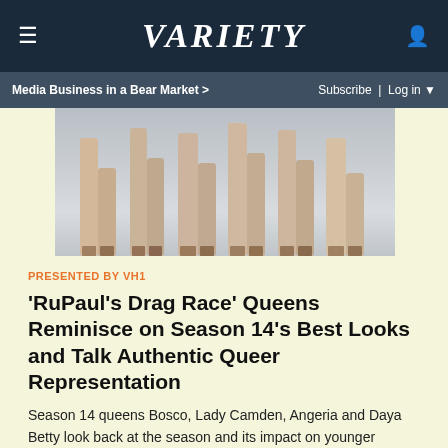VARIETY
Media Business in a Bear Market >
Subscribe | Log in
[Figure (photo): Legs of drag race contestants in heels and elaborate footwear against a light grey background]
PRESENTED BY VH1
'RuPaul's Drag Race' Queens Reminisce on Season 14's Best Looks and Talk Authentic Queer Representation
Season 14 queens Bosco, Lady Camden, Angeria and Daya Betty look back at the season and its impact on younger generations.
Must Read
[Figure (infographic): Hacks FOR YOUR EMMY CONSIDERATION advertisement banner with dark blue background and gold Hacks logo text]